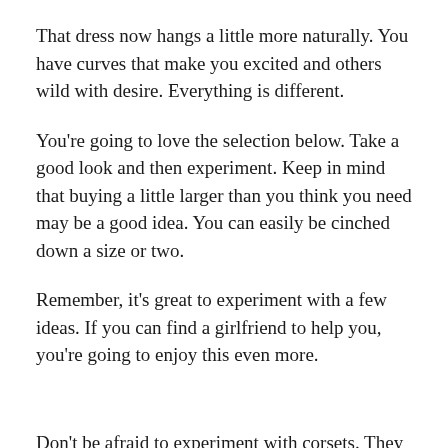That dress now hangs a little more naturally. You have curves that make you excited and others wild with desire. Everything is different.
You're going to love the selection below. Take a good look and then experiment. Keep in mind that buying a little larger than you think you need may be a good idea. You can easily be cinched down a size or two.
Remember, it's great to experiment with a few ideas. If you can find a girlfriend to help you, you're going to enjoy this even more.
Don't be afraid to experiment with corsets. They are fun and give you an instant waistline. Some have a longer body style than others.  They can be worn over or under a